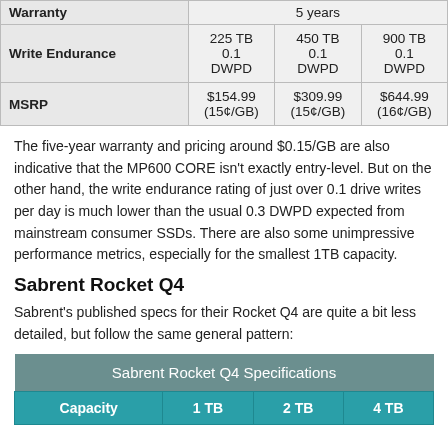|  | 1 TB | 2 TB | 4 TB |
| --- | --- | --- | --- |
| Warranty | 5 years |  |  |
| Write Endurance | 225 TB
0.1
DWPD | 450 TB
0.1
DWPD | 900 TB
0.1
DWPD |
| MSRP | $154.99
(15¢/GB) | $309.99
(15¢/GB) | $644.99
(16¢/GB) |
The five-year warranty and pricing around $0.15/GB are also indicative that the MP600 CORE isn't exactly entry-level. But on the other hand, the write endurance rating of just over 0.1 drive writes per day is much lower than the usual 0.3 DWPD expected from mainstream consumer SSDs. There are also some unimpressive performance metrics, especially for the smallest 1TB capacity.
Sabrent Rocket Q4
Sabrent's published specs for their Rocket Q4 are quite a bit less detailed, but follow the same general pattern:
| Sabrent Rocket Q4 Specifications |
| --- |
| Capacity | 1 TB | 2 TB | 4 TB |